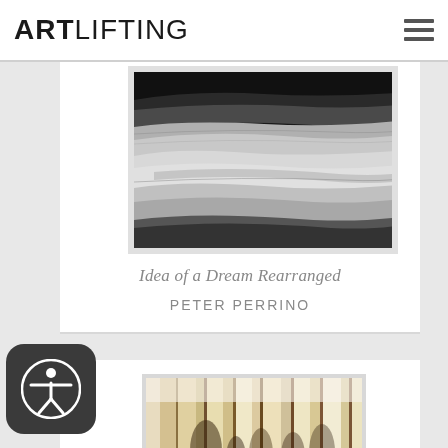ARTLIFTING
[Figure (photo): Black and white abstract photograph with swirling, layered horizontal forms resembling dunes or fabric]
Idea of a Dream Rearranged
PETER PERRINO
[Figure (photo): Abstract photograph with vertical warm-toned streaks in beige, cream and brown tones, resembling blurred columns or reeds]